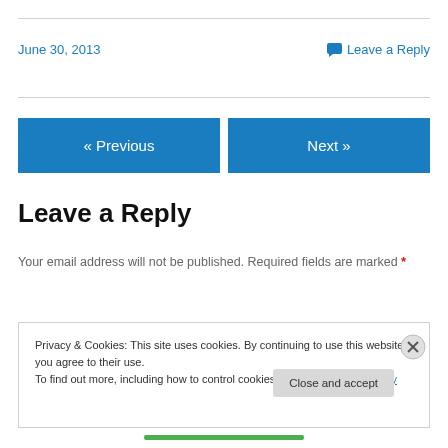June 30, 2013
Leave a Reply
« Previous
Next »
Leave a Reply
Your email address will not be published. Required fields are marked *
Privacy & Cookies: This site uses cookies. By continuing to use this website, you agree to their use. To find out more, including how to control cookies, see here: Cookie Policy
Close and accept